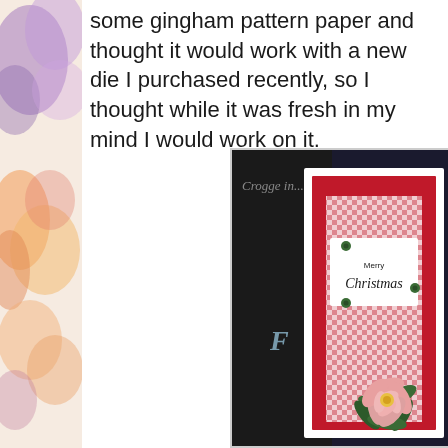[Figure (illustration): A watercolor painting strip on the left side of the page, showing orange and purple floral/abstract watercolor shapes.]
some gingham pattern paper and thought it would work with a new die I purchased recently, so I thought while it was fresh in my mind I would work on it.
[Figure (photo): A handmade Christmas card featuring red and white gingham pattern paper, a red mat layer, a white sentiment panel reading 'Merry Christmas' in script with green brad embellishments, and a pink poinsettia die-cut flower with green leaves in the lower right corner. Behind the card is a dark background with partial text visible and a script letter F.]